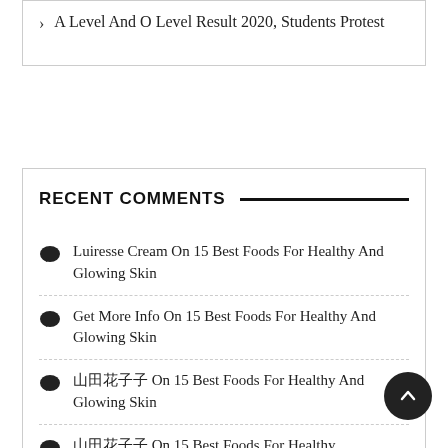A Level And O Level Result 2020, Students Protest
RECENT COMMENTS
Luiresse Cream On 15 Best Foods For Healthy And Glowing Skin
Get More Info On 15 Best Foods For Healthy And Glowing Skin
????? On 15 Best Foods For Healthy And Glowing Skin
?????? On 15 Best Foods For Healthy